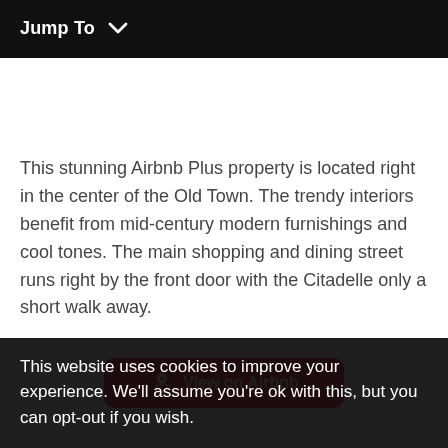Jump To
This stunning Airbnb Plus property is located right in the center of the Old Town. The trendy interiors benefit from mid-century modern furnishings and cool tones. The main shopping and dining street runs right by the front door with the Citadelle only a short walk away.
[Figure (other): Red Airbnb button with logo icon and text 'View on Airbnb']
This website uses cookies to improve your experience. We'll assume you're ok with this, but you can opt-out if you wish.